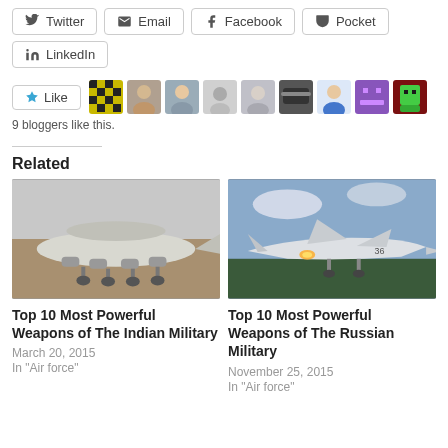Twitter
Email
Facebook
Pocket
LinkedIn
[Figure (infographic): Like button and 9 blogger avatars in a strip]
9 bloggers like this.
Related
[Figure (photo): Military AWACS-type aircraft on runway, gray tones]
[Figure (photo): Military jet bomber aircraft taking off, blue sky and trees]
Top 10 Most Powerful Weapons of The Indian Military
March 20, 2015
In "Air force"
Top 10 Most Powerful Weapons of The Russian Military
November 25, 2015
In "Air force"